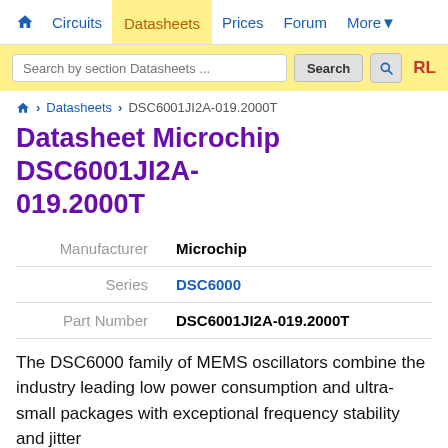Circuits | Datasheets | Prices | Forum | More
Search by section Datasheets ...
Datasheets > DSC6001JI2A-019.2000T
Datasheet Microchip DSC6001JI2A-019.2000T
|  |  |
| --- | --- |
| Manufacturer | Microchip |
| Series | DSC6000 |
| Part Number | DSC6001JI2A-019.2000T |
The DSC6000 family of MEMS oscillators combine the industry leading low power consumption and ultra-small packages with exceptional frequency stability and jitter